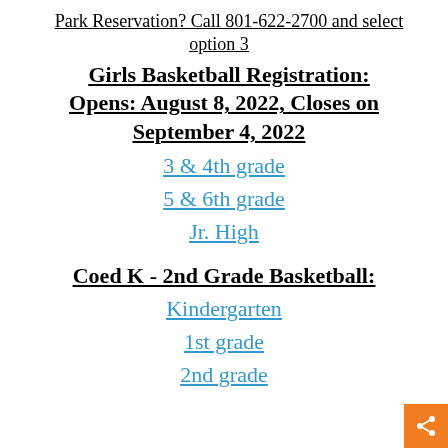Park Reservation? Call 801-622-2700 and select option 3
Girls Basketball Registration: Opens: August 8, 2022, Closes on September 4, 2022
3 & 4th grade
5 & 6th grade
Jr. High
Coed K - 2nd Grade Basketball:
Kindergarten
1st grade
2nd grade